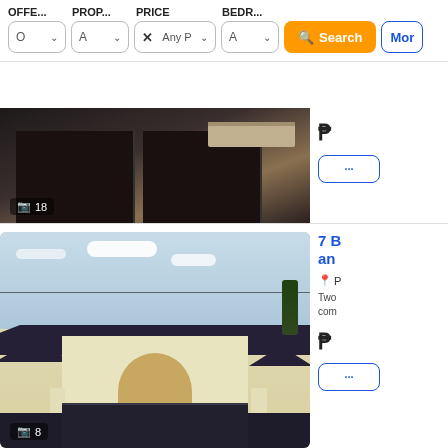OFFE... PROP... PRICE BEDR...
[Figure (screenshot): Filter bar with dropdowns: Offer type (O), Property type (A), Price (Any P with X), Bedrooms (A), orange Search button, More button]
[Figure (photo): Partial listing card showing interior room photo with dark cabinets and wall unit AC. Photo count badge shows camera icon and 18.]
[Figure (photo): Listing card showing exterior photo of a large two-story house with dark roof, cream/blue facade, arched entrance gate, black fence, and palm tree. Photo count badge shows camera icon and 8.]
7 B... an...
P
Two... com...
P
18
8